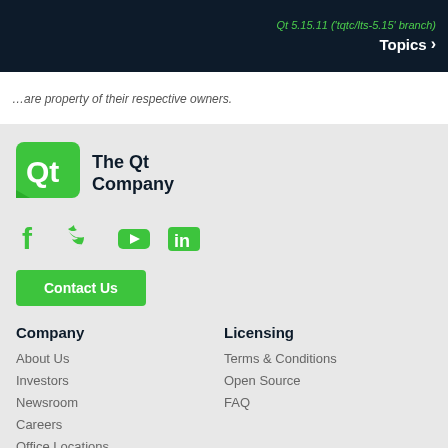Qt 5.15.11 ('tqtc/lts-5.15' branch)  Topics >
…are property of their respective owners.
[Figure (logo): The Qt Company logo: green Qt icon with white Qt text and 'The Qt Company' text beside it]
[Figure (infographic): Social media icons: Facebook, Twitter, YouTube, LinkedIn — all in green]
Contact Us
Company
About Us
Investors
Newsroom
Careers
Office Locations
Licensing
Terms & Conditions
Open Source
FAQ